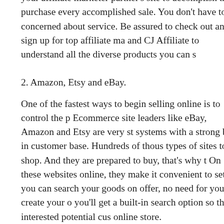your affiliate marketer partner's site to accomplish the purchase every accomplished sale. You don't have to be concerned about service. Be assured to check out and sign up for top affiliate ma and CJ Affiliate to understand all the diverse products you can s
2. Amazon, Etsy and eBay.
One of the fastest ways to begin selling online is to control the p Ecommerce site leaders like eBay, Amazon and Etsy are very st systems with a strong built in customer base. Hundreds of thous types of sites to shop. And they are prepared to buy, that's why t On these websites online, they make it convenient to set up you can search your goods on offer, no need for you to create your o you'll get a built-in search option so that interested potential cus online store.
In addition, you use their shopping cart solution. In a nutshell, y expenditure and trouble of setting up an individual e-commerce easily even possess them satisfy your orders. No hassle, no mus